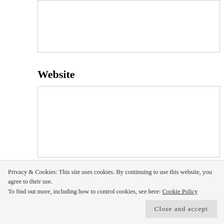[input box - partial at top]
Website
[Website input box]
POST COMMENT
Notify me of new comments via email.
Notify me of new posts via email.
Privacy & Cookies: This site uses cookies. By continuing to use this website, you agree to their use.
To find out more, including how to control cookies, see here: Cookie Policy
Close and accept